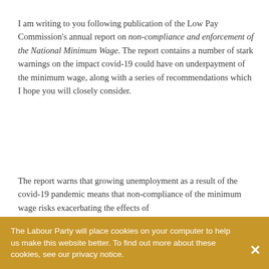I am writing to you following publication of the Low Pay Commission's annual report on non-compliance and enforcement of the National Minimum Wage. The report contains a number of stark warnings on the impact covid-19 could have on underpayment of the minimum wage, along with a series of recommendations which I hope you will closely consider.
The report warns that growing unemployment as a result of the covid-19 pandemic means that non-compliance of the minimum wage risks exacerbating the effects of...
The Labour Party will place cookies on your computer to help us make this website better. To find out more about these cookies, see our privacy notice.